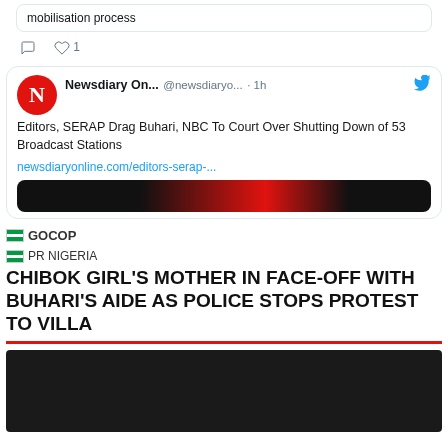mobilisation process
♡ 1
Newsdiary On... @newsdiaryо... · 1h
Editors, SERAP Drag Buhari, NBC To Court Over Shutting Down of 53 Broadcast Stations
newsdiaryonline.com/editors-serap-...
GOCOP
PR NIGERIA
CHIBOK GIRL'S MOTHER IN FACE-OFF WITH BUHARI'S AIDE AS POLICE STOPS PROTEST TO VILLA
[Figure (photo): Dark image block at bottom of page]